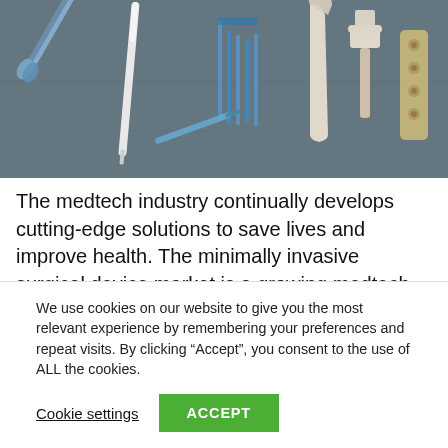[Figure (photo): Photograph of various medical/surgical instruments and implants laid out on a dark grey-blue surface, including forceps, screws, orthopedic implants, and bone plates.]
The medtech industry continually develops cutting-edge solutions to save lives and improve health. The minimally invasive surgical device market is a growing medtech sector projected to reach $28.9 billion globally by 2026, thanks to the rising demand for innovative therapies to address healthcare needs safely and effectively.  This
We use cookies on our website to give you the most relevant experience by remembering your preferences and repeat visits. By clicking “Accept”, you consent to the use of ALL the cookies.
Cookie settings   ACCEPT